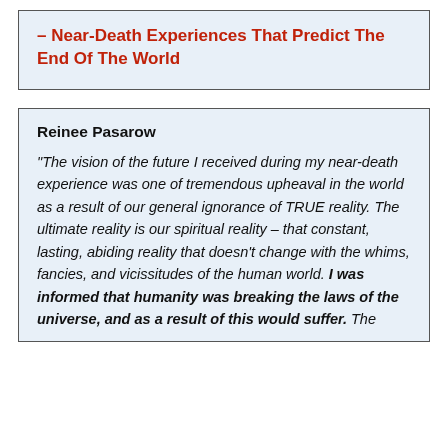– Near-Death Experiences That Predict The End Of The World
Reinee Pasarow
"The vision of the future I received during my near-death experience was one of tremendous upheaval in the world as a result of our general ignorance of TRUE reality. The ultimate reality is our spiritual reality – that constant, lasting, abiding reality that doesn't change with the whims, fancies, and vicissitudes of the human world. I was informed that humanity was breaking the laws of the universe, and as a result of this would suffer. The